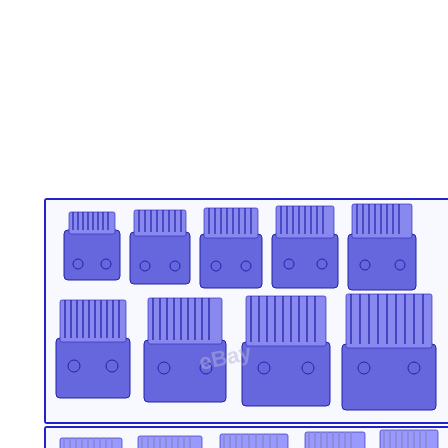[Figure (photo): First set of blue plastic hair clipper comb attachments (9 pieces arranged in two rows, varying sizes from small to large) with eBay watermark]
[Figure (photo): Second set of blue/transparent plastic clipper comb attachments with metal tines (9 pieces in two rows, varying sizes) with eBay watermark]
[Figure (photo): Third set of blue plastic clipper comb attachments partially visible at bottom of page]